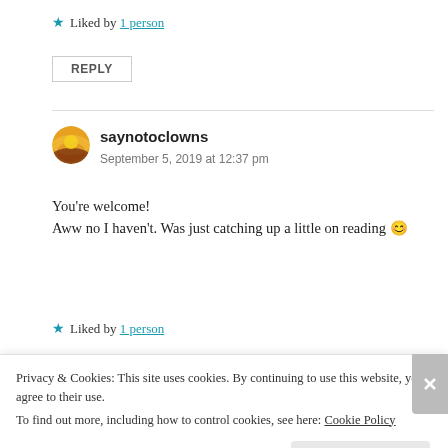★ Liked by 1 person
REPLY
saynotoclowns
September 5, 2019 at 12:37 pm
You're welcome!
Aww no I haven't. Was just catching up a little on reading 😊
★ Liked by 1 person
Privacy & Cookies: This site uses cookies. By continuing to use this website, you agree to their use.
To find out more, including how to control cookies, see here: Cookie Policy
Close and accept